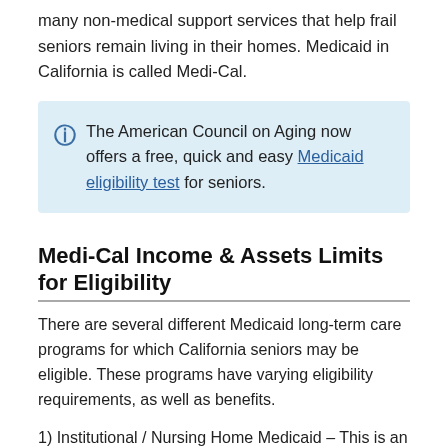many non-medical support services that help frail seniors remain living in their homes. Medicaid in California is called Medi-Cal.
The American Council on Aging now offers a free, quick and easy Medicaid eligibility test for seniors.
Medi-Cal Income & Assets Limits for Eligibility
There are several different Medicaid long-term care programs for which California seniors may be eligible. These programs have varying eligibility requirements, as well as benefits.
1) Institutional / Nursing Home Medicaid – This is an entitlement program; Anyone who is eligible will receive